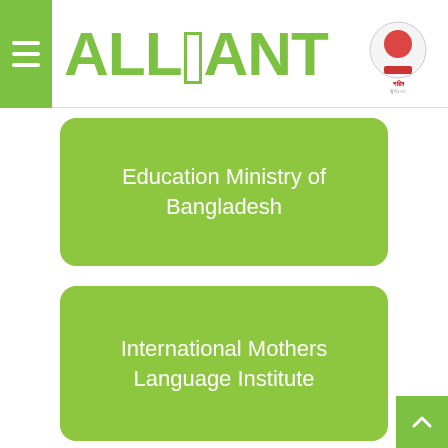ALLIANT
Education Ministry of Bangladesh
International Mothers Language Institute
High Commission of India